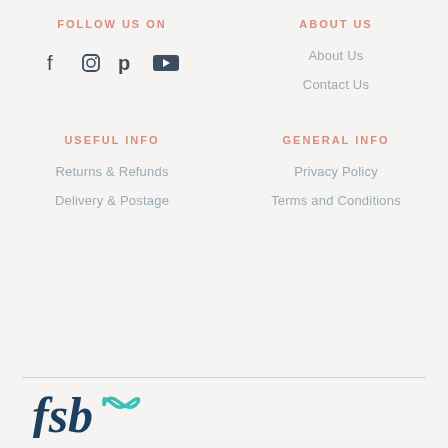FOLLOW US ON
[Figure (illustration): Social media icons: Facebook, Instagram, Pinterest, YouTube]
ABOUT US
About Us
Contact Us
USEFUL INFO
GENERAL INFO
Returns & Refunds
Privacy Policy
Delivery & Postage
Terms and Conditions
[Figure (logo): FSB logo with infinity symbol]